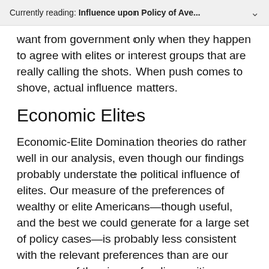Currently reading: Influence upon Policy of Ave...
want from government only when they happen to agree with elites or interest groups that are really calling the shots. When push comes to shove, actual influence matters.
Economic Elites
Economic-Elite Domination theories do rather well in our analysis, even though our findings probably understate the political influence of elites. Our measure of the preferences of wealthy or elite Americans—though useful, and the best we could generate for a large set of policy cases—is probably less consistent with the relevant preferences than are our measures of the views of ordinary citizens or the alignments of engaged interest groups. Yet we found substantial estimated effects even when using this imperfect